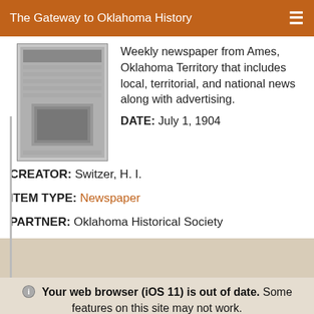The Gateway to Oklahoma History
Weekly newspaper from Ames, Oklahoma Territory that includes local, territorial, and national news along with advertising.
DATE: July 1, 1904
CREATOR: Switzer, H. I.
ITEM TYPE: Newspaper
PARTNER: Oklahoma Historical Society
Your web browser (iOS 11) is out of date. Some features on this site may not work.